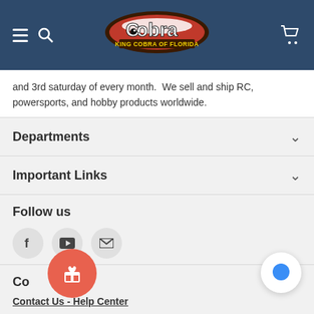King Cobra of Florida - navigation header with logo
and 3rd saturday of every month.  We sell and ship RC, powersports, and hobby products worldwide.
Departments
Important Links
Follow us
[Figure (illustration): Social media icons: Facebook, YouTube, Email]
Co
Contact Us - Help Center